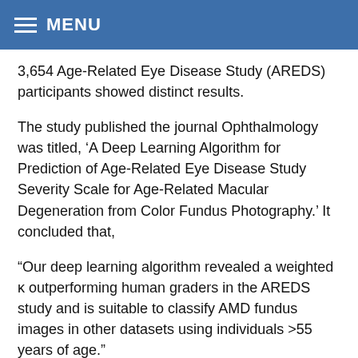MENU
3,654 Age-Related Eye Disease Study (AREDS) participants showed distinct results.
The study published the journal Ophthalmology was titled, ‘A Deep Learning Algorithm for Prediction of Age-Related Eye Disease Study Severity Scale for Age-Related Macular Degeneration from Color Fundus Photography.’ It concluded that,
“Our deep learning algorithm revealed a weighted κ outperforming human graders in the AREDS study and is suitable to classify AMD fundus images in other datasets using individuals >55 years of age.”